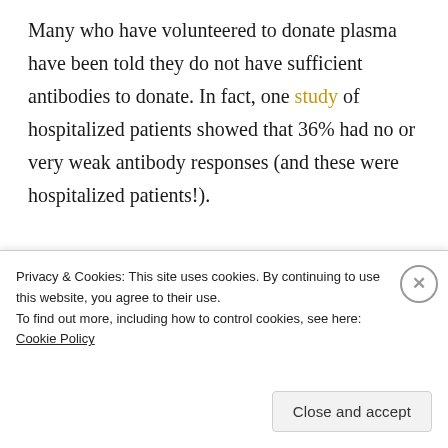Many who have volunteered to donate plasma have been told they do not have sufficient antibodies to donate. In fact, one study of hospitalized patients showed that 36% had no or very weak antibody responses (and these were hospitalized patients!).
it is not clear what quantity of
Privacy & Cookies: This site uses cookies. By continuing to use this website, you agree to their use. To find out more, including how to control cookies, see here: Cookie Policy
Close and accept